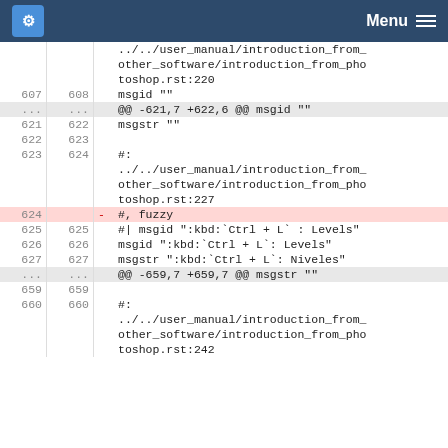KDE Menu
../../user_manual/introduction_from_other_software/introduction_from_photoshop.rst:220
607 608  msgid ""
... ...  @@ -621,7 +622,6 @@ msgid ""
621 622  msgstr ""
622 623
623 624  #:
         ../../user_manual/introduction_from_other_software/introduction_from_photoshop.rst:227
624      -  #, fuzzy
625 625  #| msgid ":kbd:`Ctrl + L` : Levels"
626 626  msgid ":kbd:`Ctrl + L`: Levels"
627 627  msgstr ":kbd:`Ctrl + L`: Niveles"
... ...  @@ -659,7 +659,7 @@ msgstr ""
659 659
660 660  #:
         ../../user_manual/introduction_from_other_software/introduction_from_photoshop.rst:242